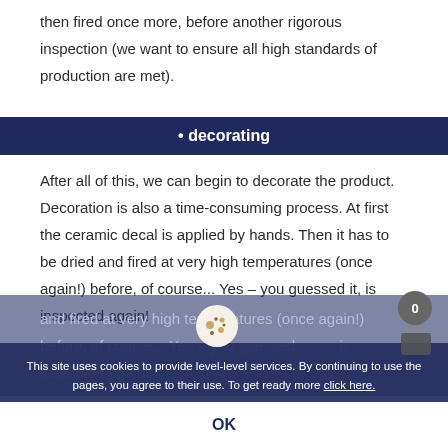then fired once more, before another rigorous inspection (we want to ensure all high standards of production are met).
• decorating
After all of this, we can begin to decorate the product. Decoration is also a time-consuming process. At first the ceramic decal is applied by hands. Then it has to be dried and fired at very high temperatures (once again!) before, of course... Yes – you guessed it, is inspected again!
This site uses cookies to provide level-level services. By continuing to use the pages, you agree to their use. To get ready more click here.
OK